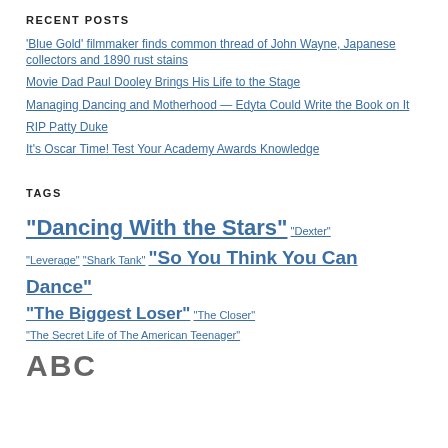RECENT POSTS
'Blue Gold' filmmaker finds common thread of John Wayne, Japanese collectors and 1890 rust stains
Movie Dad Paul Dooley Brings His Life to the Stage
Managing Dancing and Motherhood — Edyta Could Write the Book on It
RIP Patty Duke
It's Oscar Time! Test Your Academy Awards Knowledge
TAGS
"Dancing With the Stars" "Dexter" "Leverage" "Shark Tank" "So You Think You Can Dance" "The Biggest Loser" "The Closer" "The Secret Life of The American Teenager" ABC